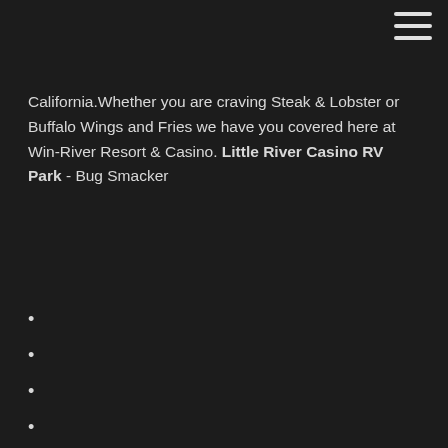California.Whether you are craving Steak & Lobster or Buffalo Wings and Fries we have you covered here at Win-River Resort & Casino. Little River Casino RV Park - Bug Smacker
Technique pour gagner a la roulette au casino
Lady gaga poker face que significa
Free online five card draw poker games
Winter critters pop and slot advent calendar